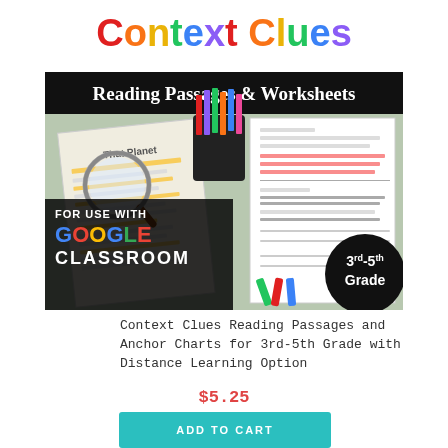[Figure (illustration): Educational product cover image for Context Clues Reading Passages and Worksheets. Features colorful title text, black subtitle bar reading 'Reading Passages & Worksheets', a photo of worksheets with a magnifying glass and colored pencils, 'FOR USE WITH GOOGLE CLASSROOM' overlay, and a '3rd-5th Grade' badge.]
Context Clues Reading Passages and Anchor Charts for 3rd-5th Grade with Distance Learning Option
$5.25
ADD TO CART